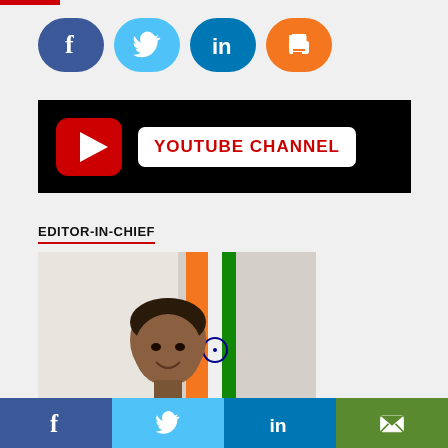[Figure (infographic): Social share buttons: Facebook (blue rounded), Twitter (light blue rounded), LinkedIn (teal rounded), Print (orange rounded)]
[Figure (infographic): YouTube Channel promotional banner with red YouTube play button icon and white text box reading YOUTUBE CHANNEL in red on black background]
EDITOR-IN-CHIEF
[Figure (photo): Photo of Editor-in-Chief, man in suit smiling, with Indian flag (orange stripe and Ashoka Chakra) visible in background]
[Figure (infographic): Bottom share bar with Facebook, Twitter, LinkedIn, and email/envelope icons on colored backgrounds]